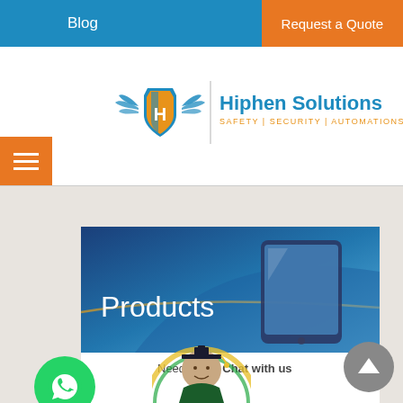Blog | Request a Quote
[Figure (logo): Hiphen Solutions logo with shield icon and wings. Text: Hiphen Solutions, SAFETY | SECURITY | AUTOMATIONS]
[Figure (other): Orange hamburger menu button with three white horizontal lines]
[Figure (infographic): Products page banner with blue gradient background and tablet device illustration]
Products
Need Help? Chat with us
[Figure (photo): Graduate student in cap and gown circle photo]
[Figure (other): Green WhatsApp circle icon]
[Figure (other): Gray scroll-to-top circle button with upward arrow]